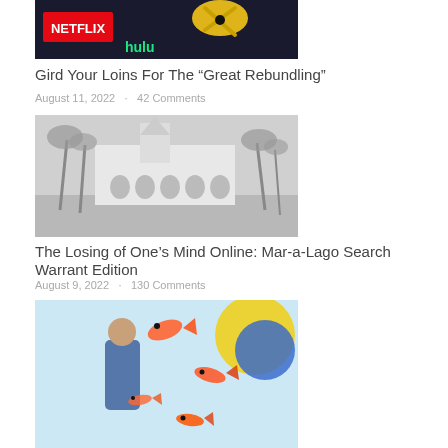[Figure (photo): Netflix and Hulu logos with yellow scissors on dark background, partially cropped at top]
Gird Your Loins For The "Great Rebundling"
August 11, 2022  ·  42 Comments
[Figure (photo): Black and white photograph of Mar-a-Lago estate with palm trees and ornate building]
The Losing of One's Mind Online: Mar-a-Lago Search Warrant Edition
August 9, 2022  ·  130 Comments
[Figure (photo): Colorful image of person with floating fish, bright colors including yellow, blue, and red]